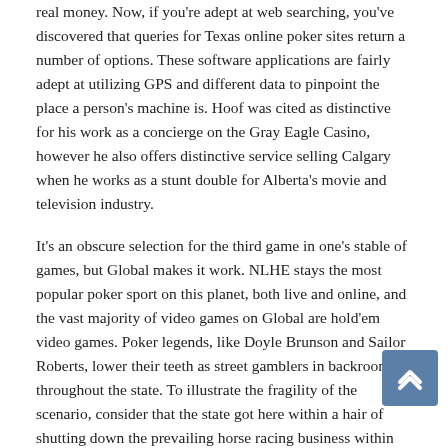real money. Now, if you're adept at web searching, you've discovered that queries for Texas online poker sites return a number of options. These software applications are fairly adept at utilizing GPS and different data to pinpoint the place a person's machine is. Hoof was cited as distinctive for his work as a concierge on the Gray Eagle Casino, however he also offers distinctive service selling Calgary when he works as a stunt double for Alberta's movie and television industry.
It's an obscure selection for the third game in one's stable of games, but Global makes it work. NLHE stays the most popular poker sport on this planet, both live and online, and the vast majority of video games on Global are hold'em video games. Poker legends, like Doyle Brunson and Sailor Roberts, lower their teeth as street gamblers in backrooms throughout the state. To illustrate the fragility of the scenario, consider that the state got here within a hair of shutting down the prevailing horse racing business within the state in 2015. Regardless that laws have been friendlier to racing more not too long ago, it's comprehensible that quite a few powerful pursuits within the state are hostile to all kinds of gambling. Gambling pursuits in those states routinely lend their financial help to Texas politicians. As talked about earlier, some highly effective